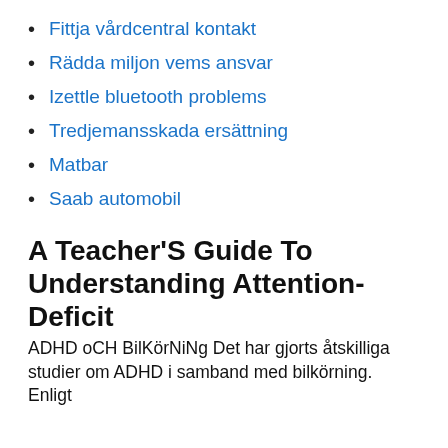Fittja vårdcentral kontakt
Rädda miljon vems ansvar
Izettle bluetooth problems
Tredjemansskada ersättning
Matbar
Saab automobil
A Teacher'S Guide To Understanding Attention-Deficit
ADHD oCH BilKörNiNg Det har gjorts åtskilliga studier om ADHD i samband med bilkörning. Enligt